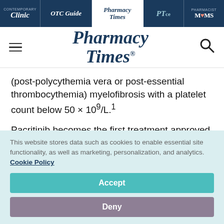Clinic | OTC Guide | Pharmacy Times | PTce | Pharmacist MOMS
[Figure (logo): Pharmacy Times logo with hamburger menu and search icon]
(post-polycythemia vera or post-essential thrombocythemia) myelofibrosis with a platelet count below 50 × 10⁹/L.¹
Pacritinib becomes the first treatment approved
This website stores data such as cookies to enable essential site functionality, as well as marketing, personalization, and analytics. Cookie Policy
Accept
Deny